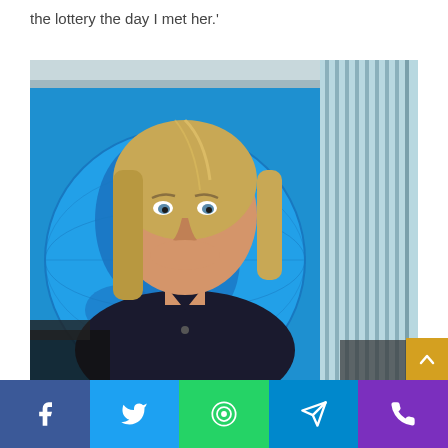the lottery the day I met her.'
[Figure (photo): A smiling blonde woman in a dark blazer standing in a TV news studio with a blue globe backdrop.]
Social share bar with Facebook, Twitter, WhatsApp, Telegram, and Phone icons